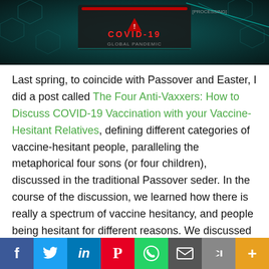[Figure (photo): COVID-19 themed banner image with dark teal background, red digital elements, COVID-19 text and warning triangle graphic]
Last spring, to coincide with Passover and Easter, I did a post called The Four Anti-Vaxxers: How to Discuss COVID-19 Vaccination with your Vaccine-Hesitant Relatives, defining different categories of vaccine-hesitant people, paralleling the metaphorical four sons (or four children), discussed in the traditional Passover seder. In the course of the discussion, we learned how there is really a spectrum of vaccine hesitancy, and people being hesitant for different reasons. We discussed how the full-blown anti-vaccine, the likes of anti-vaccine activist leader Robert Kennedy Jr., who compares vaccination programs to the Holocaust and things like that is the far extreme. We decided not to waste our energy on that extreme fringe,
f  Twitter  in  P  WhatsApp  Email  Links  More